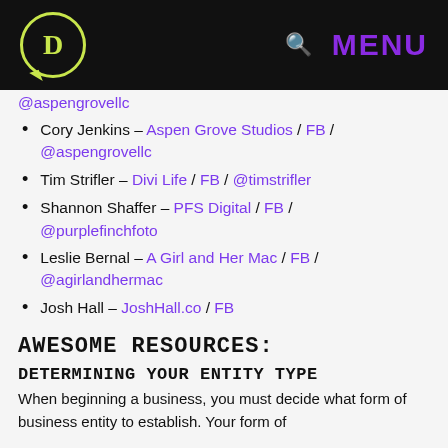D [logo] [search] MENU
@aspengrovellc (partial/cut off at top)
Cory Jenkins – Aspen Grove Studios / FB / @aspengrovellc
Tim Strifler – Divi Life / FB / @timstrifler
Shannon Shaffer – PFS Digital / FB / @purplefinchfoto
Leslie Bernal – A Girl and Her Mac / FB / @agirlandhermac
Josh Hall – JoshHall.co / FB
AWESOME RESOURCES:
DETERMINING YOUR ENTITY TYPE
When beginning a business, you must decide what form of business entity to establish. Your form of business determines...